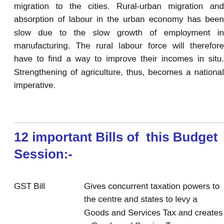migration to the cities. Rural-urban migration and absorption of labour in the urban economy has been slow due to the slow growth of employment in manufacturing. The rural labour force will therefore have to find a way to improve their incomes in situ. Strengthening of agriculture, thus, becomes a national imperative.
12 important Bills of  this Budget Session:-
GST Bill    Gives concurrent taxation powers to the centre and states to levy a Goods and Services Tax and creates a Goods and Services Tax Council.